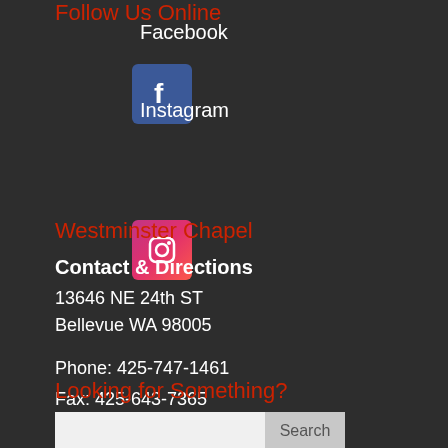Follow Us Online
Facebook
Instagram
Westminster Chapel
Contact & Directions
13646 NE 24th ST
Bellevue WA 98005

Phone: 425-747-1461
Fax: 425-643-7365
Looking for Something?